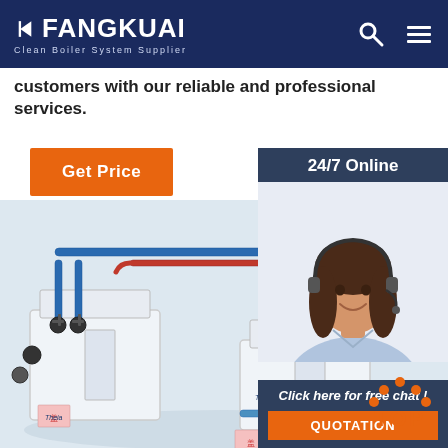FANGKUAI - Clean Boiler System Supplier
customers with our reliable and professional services.
Get Price
24/7 Online
[Figure (photo): Customer service agent with headset smiling]
[Figure (photo): Fangkuai industrial boiler system with blue piping, valves and two boiler units]
Click here for free chat !
QUOTATION
[Figure (other): TOP badge with orange dots forming a house/arrow shape above the word TOP]